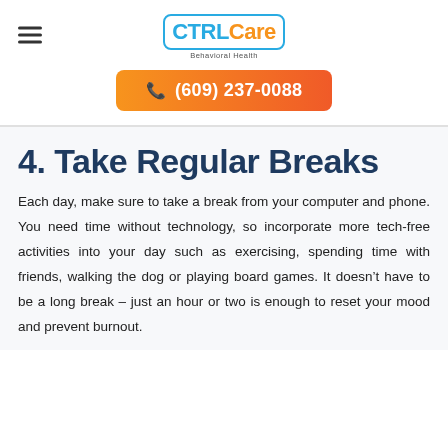[Figure (logo): CTRLCare Behavioral Health logo with hamburger menu icon]
(609) 237-0088
4. Take Regular Breaks
Each day, make sure to take a break from your computer and phone. You need time without technology, so incorporate more tech-free activities into your day such as exercising, spending time with friends, walking the dog or playing board games. It doesn't have to be a long break – just an hour or two is enough to reset your mood and prevent burnout.